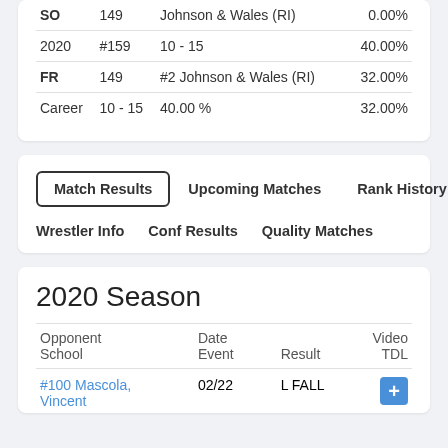| Year/Class | Weight/Rank | Record/Opponent | Pct |
| --- | --- | --- | --- |
| SO | 149 | Johnson & Wales (RI) | 0.00% |
| 2020 | #159 | 10 - 15 | 40.00% |
| FR | 149 | #2 Johnson & Wales (RI) | 32.00% |
| Career | 10 - 15 | 40.00 % | 32.00% |
Match Results
Upcoming Matches
Rank History
Wrestler Info
Conf Results
Quality Matches
2020 Season
| Opponent
School | Date
Event | Result | Video
TDL |
| --- | --- | --- | --- |
| #100 Mascola, Vincent | 02/22 | L FALL | + |